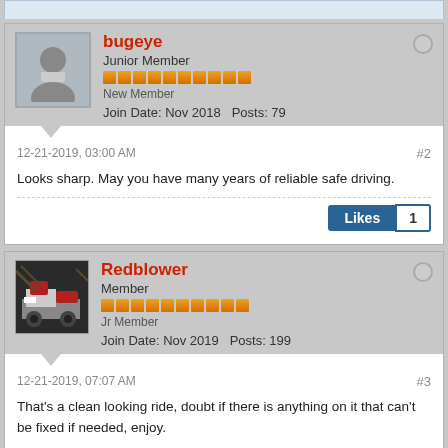bugeye
Junior Member
New Member
Join Date: Nov 2018   Posts: 79
12-21-2019, 03:00 AM
#2
Looks sharp. May you have many years of reliable safe driving.
Likes 1
Redblower
Member
Jr Member
Join Date: Nov 2019   Posts: 199
12-21-2019, 07:07 AM
#3
That's a clean looking ride, doubt if there is anything on it that can't be fixed if needed, enjoy.